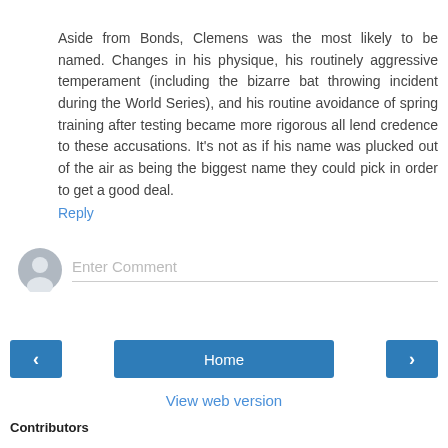Aside from Bonds, Clemens was the most likely to be named. Changes in his physique, his routinely aggressive temperament (including the bizarre bat throwing incident during the World Series), and his routine avoidance of spring training after testing became more rigorous all lend credence to these accusations. It's not as if his name was plucked out of the air as being the biggest name they could pick in order to get a good deal.
Reply
[Figure (other): Default user avatar circle icon (grey silhouette) next to an 'Enter Comment' input field with a grey underline]
[Figure (other): Navigation bar with left arrow button, Home button, and right arrow button]
View web version
Contributors